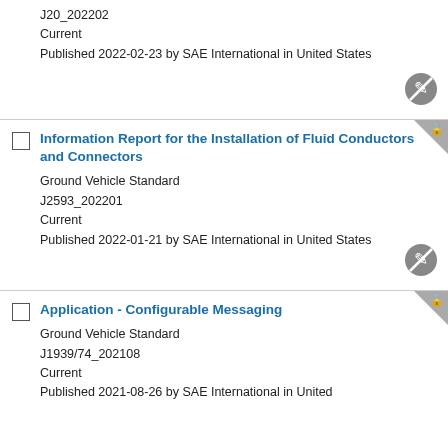J20_202202
Current
Published 2022-02-23 by SAE International in United States
Information Report for the Installation of Fluid Conductors and Connectors
Ground Vehicle Standard
J2593_202201
Current
Published 2022-01-21 by SAE International in United States
Application - Configurable Messaging
Ground Vehicle Standard
J1939/74_202108
Current
Published 2021-08-26 by SAE International in United